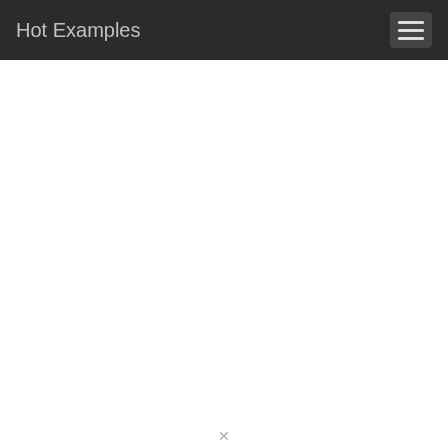Hot Examples
EXAMPLE #1
0
Show file
File: labelvol.go   Project: jwohlwend/dvid